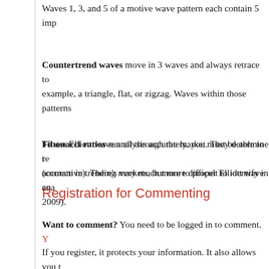Waves 1, 3, and 5 of a motive wave pattern each contain 5 imp...
Countertrend waves move in 3 waves and always retrace to... example, a triangle, flat, or zigzag. Waves within those patterns...
Fibonacci ratios run all through the market. They determine t... accurate in trending markets, but more difficult to identify in co... 2009).
To use Elliott wave analysis accurately, you must be able to re... (corrective). There's very much more to proper Elliott wave ana...
Registration for Commenting
Want to comment? You need to be logged in to comment. Y...
If you register, it protects your information. It also allows you t... go to the home page and click on the login link top right in ord...